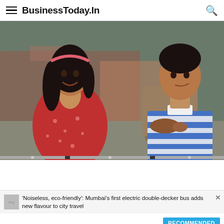BusinessToday.In
[Figure (photo): Screenshot from a Bollywood film showing a woman in a red floral dress with a pink headband smiling at a man in a blue and white striped t-shirt carrying a backpack, with a blurred urban background.]
'Noiseless, eco-friendly': Mumbai's first electric double-decker bus adds new flavour to city travel
RECOMMENDED